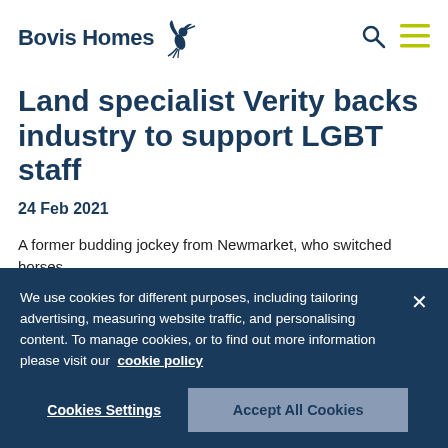[Figure (logo): Bovis Homes logo with stylized hummingbird/bird illustration and company name in dark navy blue]
Land specialist Verity backs industry to support LGBT staff
24 Feb 2021
A former budding jockey from Newmarket, who switched horses
We use cookies for different purposes, including tailoring advertising, measuring website traffic, and personalising content. To manage cookies, or to find out more information please visit our  cookie policy
Cookies Settings
Accept All Cookies